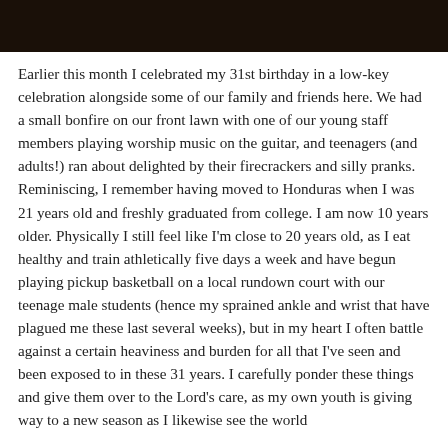[Figure (photo): Dark photograph banner image at top of page]
Earlier this month I celebrated my 31st birthday in a low-key celebration alongside some of our family and friends here. We had a small bonfire on our front lawn with one of our young staff members playing worship music on the guitar, and teenagers (and adults!) ran about delighted by their firecrackers and silly pranks. Reminiscing, I remember having moved to Honduras when I was 21 years old and freshly graduated from college. I am now 10 years older. Physically I still feel like I'm close to 20 years old, as I eat healthy and train athletically five days a week and have begun playing pickup basketball on a local rundown court with our teenage male students (hence my sprained ankle and wrist that have plagued me these last several weeks), but in my heart I often battle against a certain heaviness and burden for all that I've seen and been exposed to in these 31 years. I carefully ponder these things and give them over to the Lord's care, as my own youth is giving way to a new season as I likewise see the world